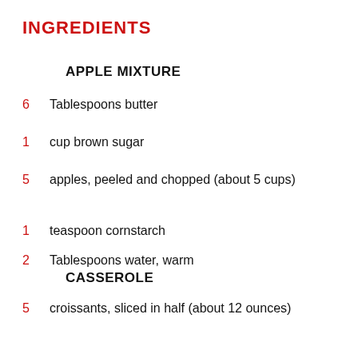INGREDIENTS
APPLE MIXTURE
6  Tablespoons butter
1  cup brown sugar
5  apples, peeled and chopped (about 5 cups)
1  teaspoon cornstarch
2  Tablespoons water, warm
CASSEROLE
5  croissants, sliced in half (about 12 ounces)